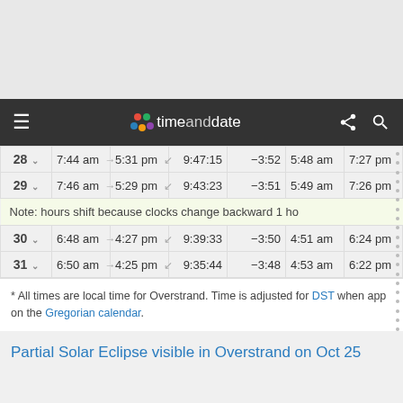[Figure (screenshot): Gray top area of web page background]
timeanddate — navigation bar with hamburger menu, logo, share and search icons
| Day | Sunrise |  | Sunset |  | Daylength | Diff. | Civil Twilight Start | Civil Twilight End |
| --- | --- | --- | --- | --- | --- | --- | --- | --- |
| 28 ▾ | 7:44 am | → | 5:31 pm | ↙ | 9:47:15 | −3:52 | 5:48 am | 7:27 pm |
| 29 ▾ | 7:46 am | → | 5:29 pm | ↙ | 9:43:23 | −3:51 | 5:49 am | 7:26 pm |
| Note: hours shift because clocks change backward 1 ho |  |  |  |  |  |  |  |  |
| 30 ▾ | 6:48 am | → | 4:27 pm | ↙ | 9:39:33 | −3:50 | 4:51 am | 6:24 pm |
| 31 ▾ | 6:50 am | → | 4:25 pm | ↙ | 9:35:44 | −3:48 | 4:53 am | 6:22 pm |
* All times are local time for Overstrand. Time is adjusted for DST when app on the Gregorian calendar.
Partial Solar Eclipse visible in Overstrand on Oct 25